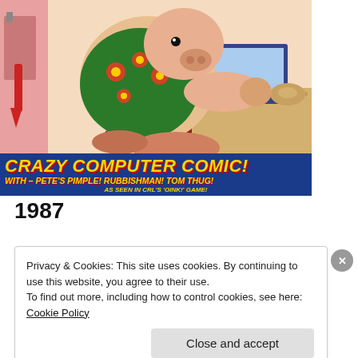[Figure (illustration): Comic book cover illustration showing a cartoon pig character in a floral shirt sitting at a computer desk. The image has a blue banner at the bottom with yellow text reading 'CRAZY COMPUTER COMIC! WITH – PETE'S PIMPLE! RUBBISHMAN! TOM THUG! AS SEEN IN CRL'S 'OINK!' GAME!']
1987
Privacy & Cookies: This site uses cookies. By continuing to use this website, you agree to their use.
To find out more, including how to control cookies, see here: Cookie Policy